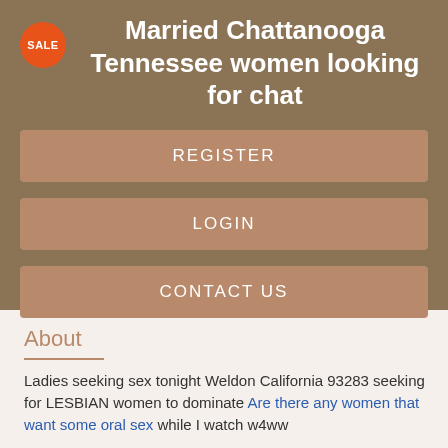Married Chattanooga Tennessee women looking for chat
REGISTER
LOGIN
CONTACT US
About
Ladies seeking sex tonight Weldon California 93283 seeking for LESBIAN women to dominate Are there any women that want some oral sex while I watch w4ww